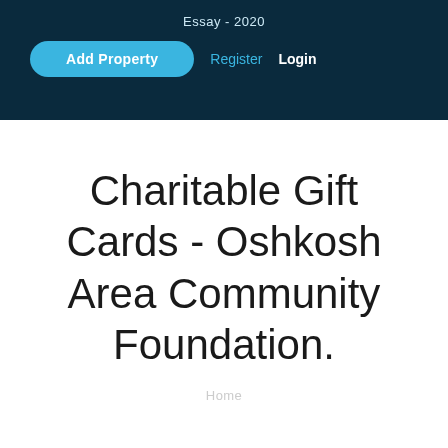Essay - 2020
Add Property   Register   Login
Charitable Gift Cards - Oshkosh Area Community Foundation.
Home